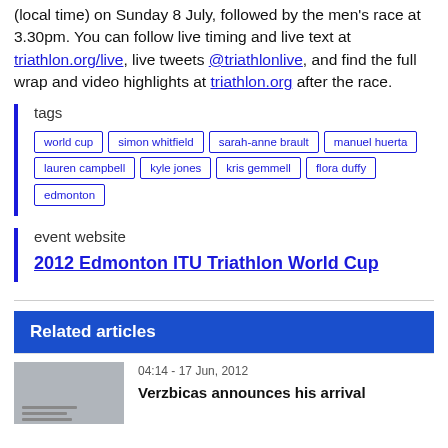(local time) on Sunday 8 July, followed by the men's race at 3.30pm. You can follow live timing and live text at triathlon.org/live, live tweets @triathlonlive, and find the full wrap and video highlights at triathlon.org after the race.
tags
world cup
simon whitfield
sarah-anne brault
manuel huerta
lauren campbell
kyle jones
kris gemmell
flora duffy
edmonton
event website
2012 Edmonton ITU Triathlon World Cup
Related articles
04:14 - 17 Jun, 2012
Verzbicas announces his arrival